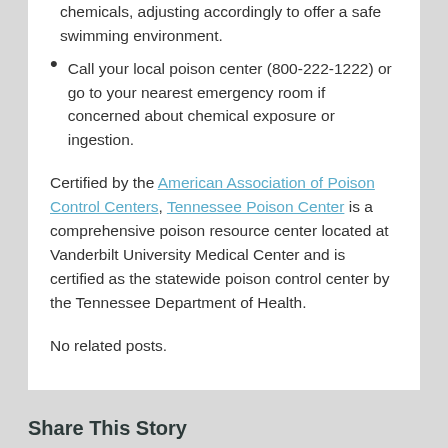Call your local poison center (800-222-1222) or go to your nearest emergency room if concerned about chemical exposure or ingestion.
Certified by the American Association of Poison Control Centers, Tennessee Poison Center is a comprehensive poison resource center located at Vanderbilt University Medical Center and is certified as the statewide poison control center by the Tennessee Department of Health.
No related posts.
Share This Story